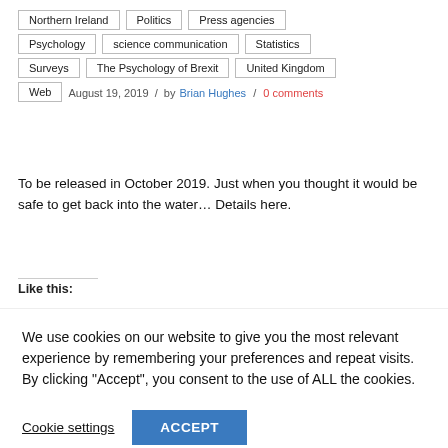Northern Ireland
Politics
Press agencies
Psychology
science communication
Statistics
Surveys
The Psychology of Brexit
United Kingdom
Web
August 19, 2019 / by Brian Hughes / 0 comments
To be released in October 2019. Just when you thought it would be safe to get back into the water… Details here.
Like this:
We use cookies on our website to give you the most relevant experience by remembering your preferences and repeat visits. By clicking "Accept", you consent to the use of ALL the cookies.
Cookie settings  ACCEPT